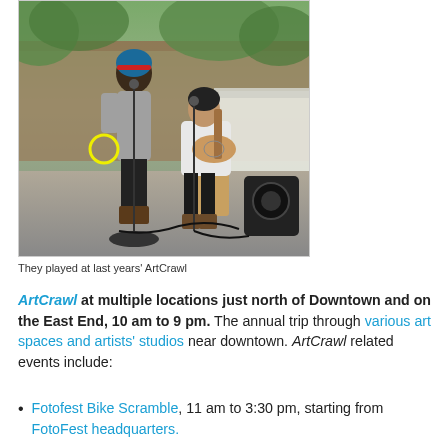[Figure (photo): Two women performing music outdoors at ArtCrawl. One woman with blue hair and a red headband stands at a microphone singing. Another woman sits on a wooden crate playing acoustic guitar at a microphone. A yellow circle is drawn around the standing woman's hand. A black speaker sits to the right. Green vegetation and a weathered wooden fence are visible in the background.]
They played at last years' ArtCrawl
ArtCrawl at multiple locations just north of Downtown and on the East End, 10 am to 9 pm. The annual trip through various art spaces and artists' studios near downtown. ArtCrawl related events include:
Fotofest Bike Scramble, 11 am to 3:30 pm, starting from FotoFest headquarters.